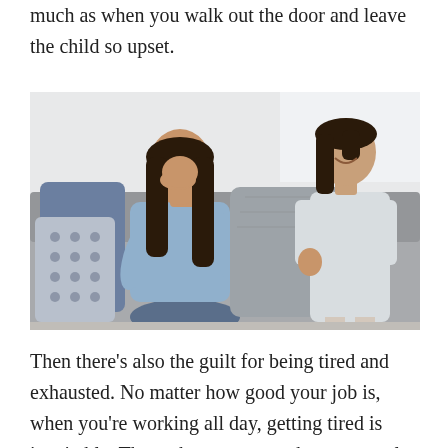much as when you walk out the door and leave the child so upset.
[Figure (photo): A tired woman sitting on a couch with her hand on her forehead looking stressed, while a young girl stands beside her holding a large pillow, smiling.]
Then there's also the guilt for being tired and exhausted. No matter how good your job is, when you're working all day, getting tired is inevitable. Then when you come home, you also need to be the best mom. It's tough. You might be really exhausted mentally, but you can't snap. In times that you do